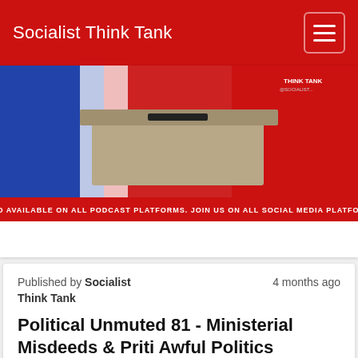Socialist Think Tank
[Figure (screenshot): Podcast thumbnail image showing a ballot box against a red and blue background with text 'ALSO AVAILABLE ON ALL PODCAST PLATFORMS. JOIN US ON ALL SOCIAL MEDIA PLATFORMS']
Published by Socialist Think Tank   4 months ago
Political Unmuted 81 - Ministerial Misdeeds & Priti Awful Politics
[Figure (other): Audio player showing 0:00 / 0:00 with play button, progress bar, volume and more options icons]
We discuss if it is worth having a ministerial